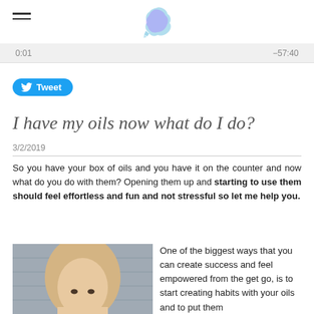[Logo: Alaska map watercolor icon]
0:01  -57:40
Tweet
I have my oils now what do I do?
3/2/2019
So you have your box of oils and you have it on the counter and now what do you do with them? Opening them up and starting to use them should feel effortless and fun and not stressful so let me help you.
[Figure (photo): Portrait photo of a blonde woman]
One of the biggest ways that you can create success and feel empowered from the get go, is to start creating habits with your oils and to put them